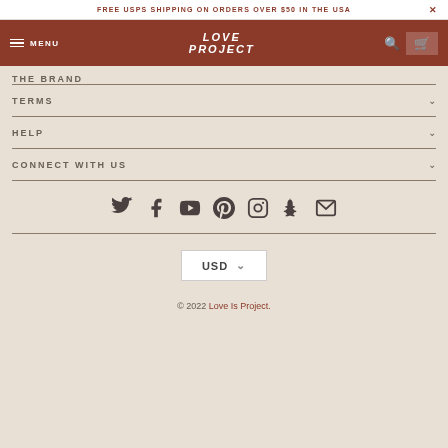FREE USPS SHIPPING ON ORDERS OVER $50 IN THE USA
MENU | LOVE PROJECT
THE BRAND
TERMS
HELP
CONNECT WITH US
[Figure (infographic): Social media icons row: Twitter, Facebook, YouTube, Pinterest, Instagram, Snapchat, Email]
USD
© 2022 Love Is Project.